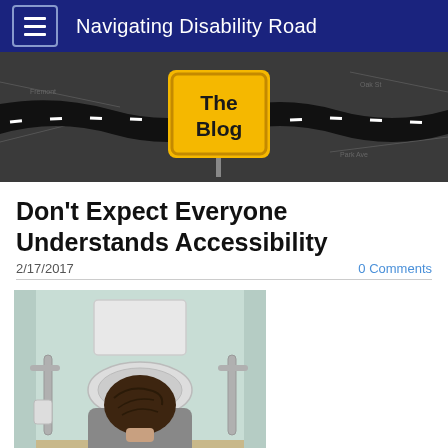Navigating Disability Road
[Figure (illustration): Blog banner showing a winding road with dashed white lines on a dark background, with a yellow road sign in the center reading 'The Blog']
Don't Expect Everyone Understands Accessibility
2/17/2017
0 Comments
[Figure (photo): Photo of a person with dark hair seen from behind, sitting in a narrow bathroom with a toilet and grab bars visible]